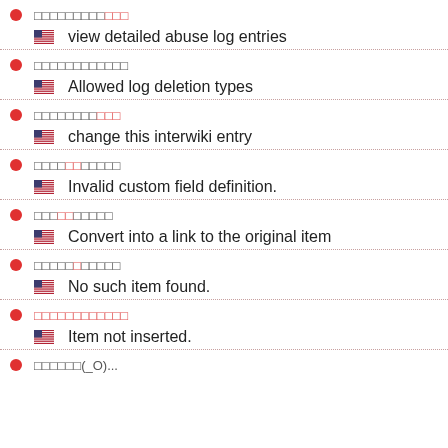view detailed abuse log entries
Allowed log deletion types
change this interwiki entry
Invalid custom field definition.
Convert into a link to the original item
No such item found.
Item not inserted.
アイウ(_O)...